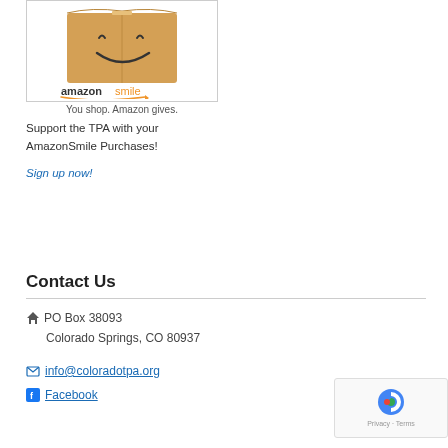[Figure (logo): AmazonSmile logo on a cardboard box with text 'amazonsmile' and 'You shop. Amazon gives.']
Support the TPA with your AmazonSmile Purchases!
Sign up now!
Contact Us
PO Box 38093
Colorado Springs, CO 80937
info@coloradotpa.org
Facebook